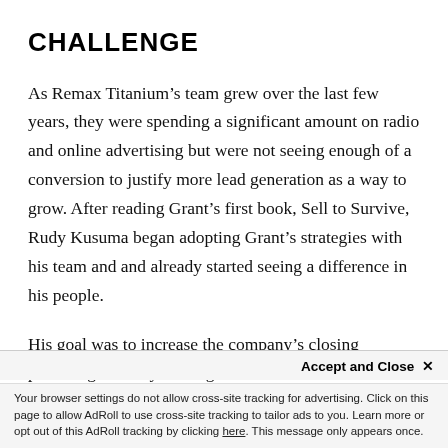CHALLENGE
As Remax Titanium’s team grew over the last few years, they were spending a significant amount on radio and online advertising but were not seeing enough of a conversion to justify more lead generation as a way to grow. After reading Grant’s first book, Sell to Survive, Rudy Kusuma began adopting Grant’s strategies with his team and and already started seeing a difference in his people.
His goal was to increase the company’s closing percentage so they could get more ROI on the abundance of advertising that was already being decided to invest to
Accept and Close ×
Your browser settings do not allow cross-site tracking for advertising. Click on this page to allow AdRoll to use cross-site tracking to tailor ads to you. Learn more or opt out of this AdRoll tracking by clicking here. This message only appears once.